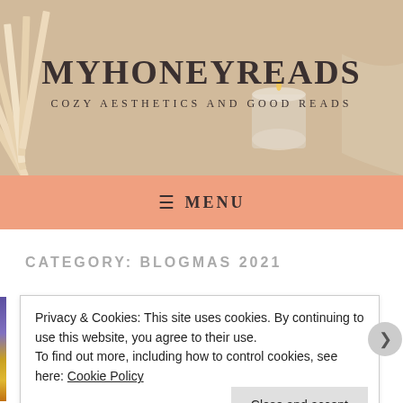[Figure (photo): Website header hero image showing an open book fanned out, a candle in a glass jar, and cozy textile items on a light background]
MYHONEYREADS
COZY AESTHETICS AND GOOD READS
≡  MENU
CATEGORY: BLOGMAS 2021
Privacy & Cookies: This site uses cookies. By continuing to use this website, you agree to their use.
To find out more, including how to control cookies, see here: Cookie Policy
Close and accept
Advertisements